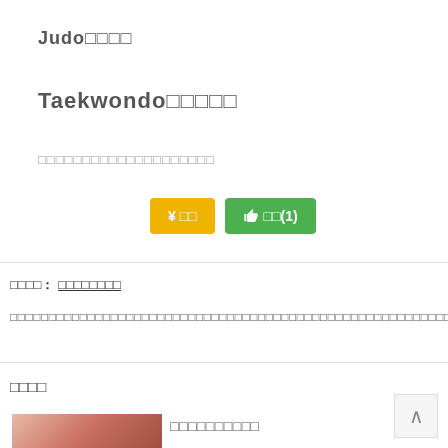Judo□□□□
Taekwondo□□□□□
□□□□□□□□□□□□□□□□□□□□
¥ □□   👍 □□(1)
□□□□：□□□□□□□□
□□□□□□□□□□□□□□□□□□□□□□□□□□□□□□□□□□□□□□□□□□□□□□□□□□□□□□□□□□□
□□□□
□□□□□□□□□□